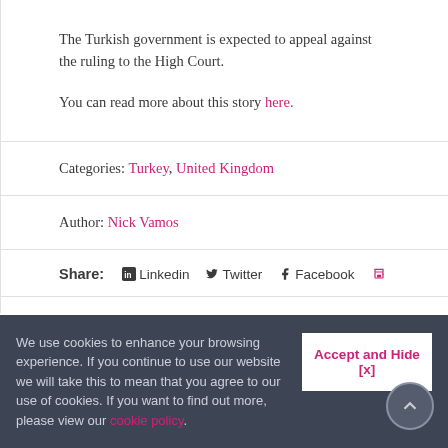The Turkish government is expected to appeal against the ruling to the High Court.

You can read more about this story here.
Categories: Turkey, United Kingdom
Author: Nick Vamos
Share: Linkedin Twitter Facebook [print icon]
We use cookies to enhance your browsing experience. If you continue to use our website we will take this to mean that you agree to our use of cookies. If you want to find out more, please view our cookie policy.
Accept and Hide [x]